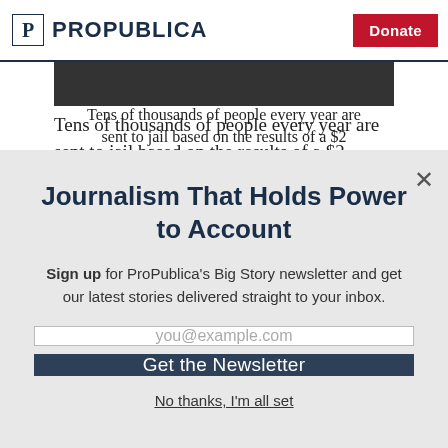ProPublica | Donate
[Figure (photo): Partially visible article image (dark background)]
Tens of thousands of people every year are sent to jail based on the results of a $2
Journalism That Holds Power to Account
Sign up for ProPublica's Big Story newsletter and get our latest stories delivered straight to your inbox.
you@example.com
Get the Newsletter
No thanks, I'm all set
This site is protected by reCAPTCHA and the Google Privacy Policy and Terms of Service apply.